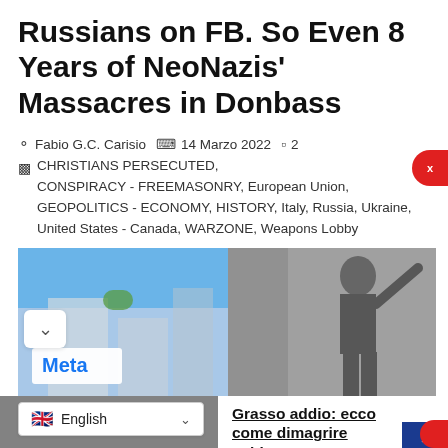Russians on FB. So Even 8 Years of NeoNazis' Massacres in Donbass
Fabio G.C. Carisio  14 Marzo 2022  2
CHRISTIANS PERSECUTED, CONSPIRACY - FREEMASONRY, European Union, GEOPOLITICS - ECONOMY, HISTORY, Italy, Russia, Ukraine, United States - Canada, WARZONE, Weapons Lobby
[Figure (photo): Left half: Meta signage with blue sky background. Right half: Black and white historical photo of a man raising his arm in a salute.]
[Figure (photo): Bottom left partial image area, gray/dark content.]
Grasso addio: ecco come dimagrire subito
Dimagrimento rapido
English